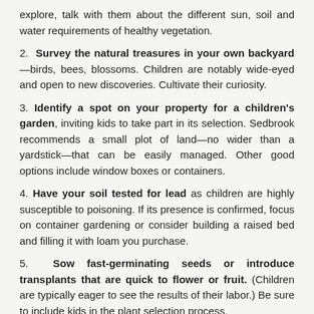explore, talk with them about the different sun, soil and water requirements of healthy vegetation.
2. Survey the natural treasures in your own backyard—birds, bees, blossoms. Children are notably wide-eyed and open to new discoveries. Cultivate their curiosity.
3. Identify a spot on your property for a children's garden, inviting kids to take part in its selection. Sedbrook recommends a small plot of land—no wider than a yardstick—that can be easily managed. Other good options include window boxes or containers.
4. Have your soil tested for lead as children are highly susceptible to poisoning. If its presence is confirmed, focus on container gardening or consider building a raised bed and filling it with loam you purchase.
5. Sow fast-germinating seeds or introduce transplants that are quick to flower or fruit. (Children are typically eager to see the results of their labor.) Be sure to include kids in the plant selection process.